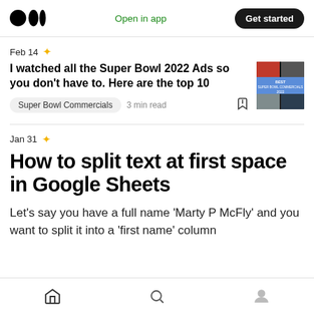Medium logo | Open in app | Get started
Feb 14 ✦
I watched all the Super Bowl 2022 Ads so you don't have to. Here are the top 10
Super Bowl Commercials  3 min read
[Figure (photo): Thumbnail image of Super Bowl Commercials 2022 article]
Jan 31 ✦
How to split text at first space in Google Sheets
Let's say you have a full name 'Marty P McFly' and you want to split it into a 'first name' column
Home  Search  Profile